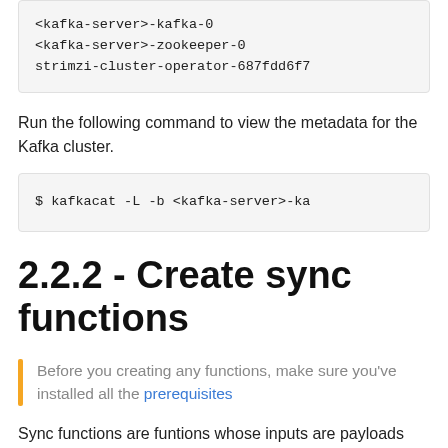[Figure (screenshot): Code block showing truncated terminal output with kafka-server and strimzi-cluster-operator lines]
Run the following command to view the metadata for the Kafka cluster.
[Figure (screenshot): Code block showing: $ kafkacat -L -b <kafka-server>-ka]
2.2.2 - Create sync functions
Before you creating any functions, make sure you've installed all the prerequisites
Sync functions are funtions whose inputs are payloads